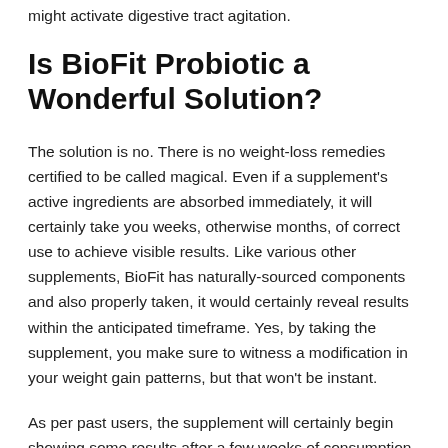might activate digestive tract agitation.
Is BioFit Probiotic a Wonderful Solution?
The solution is no. There is no weight-loss remedies certified to be called magical. Even if a supplement's active ingredients are absorbed immediately, it will certainly take you weeks, otherwise months, of correct use to achieve visible results. Like various other supplements, BioFit has naturally-sourced components and also properly taken, it would certainly reveal results within the anticipated timeframe. Yes, by taking the supplement, you make sure to witness a modification in your weight gain patterns, but that won't be instant.
As per past users, the supplement will certainly begin showing some results after a few weeks of consumption. The duration could be 2 week or more, but actual results will be seen between two to